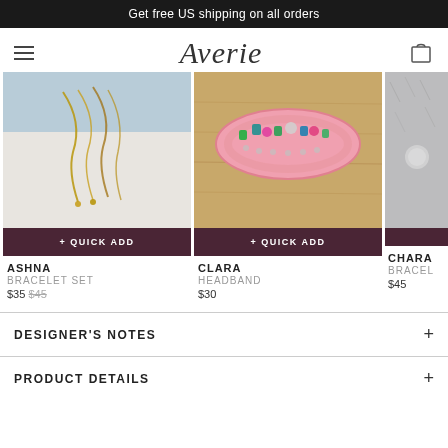Get free US shipping on all orders
[Figure (logo): Averie brand logo in cursive script with hamburger menu and shopping bag icon]
[Figure (photo): Gold chain bracelet set laid on white fabric and light blue background]
+ QUICK ADD
ASHNA
BRACELET SET
$35  $45
[Figure (photo): Pink jeweled headband with colorful gemstones on wooden surface]
+ QUICK ADD
CLARA
HEADBAND
$30
[Figure (photo): Partial view of CHARA bracelet product on gray furry background]
CHARA
BRACEL
$45
DESIGNER'S NOTES
PRODUCT DETAILS